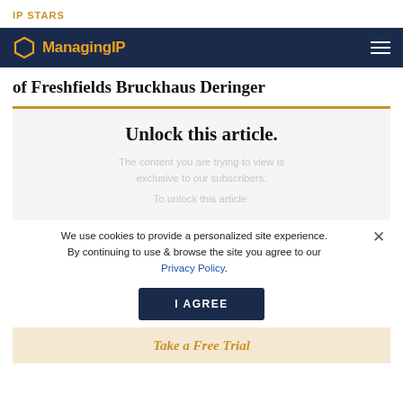IP STARS
Managing IP
of Freshfields Bruckhaus Deringer
[Figure (screenshot): Unlock this article paywall box with ghost text about exclusive subscriber content]
We use cookies to provide a personalized site experience. By continuing to use & browse the site you agree to our Privacy Policy.
I AGREE
Take a Free Trial